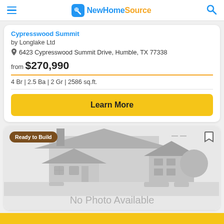NewHomeSource
Cypresswood Summit
by Longlake Ltd
6423 Cypresswood Summit Drive, Humble, TX 77338
from $270,990
4 Br | 2.5 Ba | 2 Gr | 2586 sq.ft.
Learn More
[Figure (illustration): New home listing card with 'Ready to Build' badge, placeholder house illustration, and 'No Photo Available' text]
No Photo Available